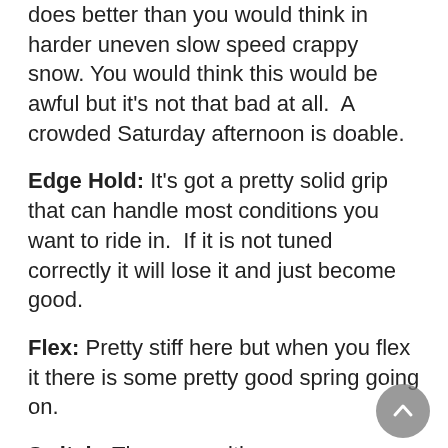does better than you would think in harder uneven slow speed crappy snow. You would think this would be awful but it's not that bad at all. A crowded Saturday afternoon is doable.
Edge Hold: It's got a pretty solid grip that can handle most conditions you want to ride in. If it is not tuned correctly it will lose it and just become good.
Flex: Pretty stiff here but when you flex it there is some pretty good spring going on.
Switch: The same either way.
Jibbing: I'm not a good jibber so I didn't even think about it.
Pipe: It's even not bad in the pipe either. There are good grip and a solid drive wall to wall. You would have to preserve your edges very well compared to other boards with a little something more in the sidecut but if you can it will hold well. A really solid pipe rider will enjoy this but if you don't know what you are doing it could fuck you up.
Jumps: It's not very easy to generate your own air but a